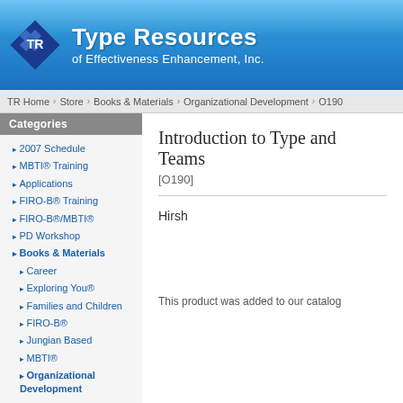[Figure (logo): Type Resources of Effectiveness Enhancement, Inc. logo with blue banner header and diamond TR logo mark]
TR Home › Store › Books & Materials › Organizational Development › O190
Categories
2007 Schedule
MBTI® Training
Applications
FIRO-B® Training
FIRO-B®/MBTI®
PD Workshop
Books & Materials
Career
Exploring You®
Families and Children
FIRO-B®
Jungian Based
MBTI®
Organizational Development
Organizational Training
Personal Development
Personality Dimensions®
Training Materials
What's New?
Cancellation Policy
WRITE A REVIEW!
Introduction to Type and Teams
[O190]
Hirsh
This product was added to our catalog